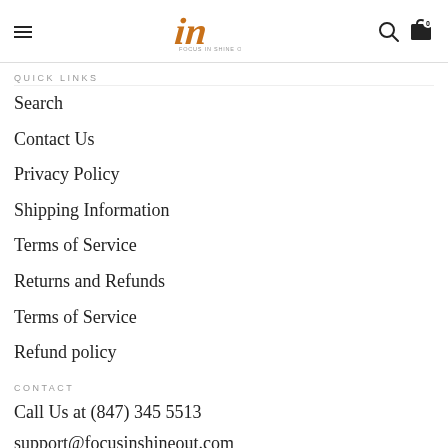Focus In Shine Out — Navigation header with hamburger menu, logo, search and cart icons
QUICK LINKS
Search
Contact Us
Privacy Policy
Shipping Information
Terms of Service
Returns and Refunds
Terms of Service
Refund policy
CONTACT
Call Us at (847) 345 5513
support@focusinshineout.com